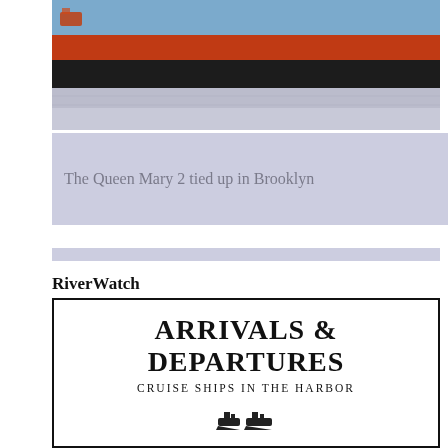[Figure (photo): A large ship with a red hull and dark superstructure photographed close up at the waterline, with a tugboat visible in the background on the water.]
The Queen Mary 2 tied up in Brooklyn
RiverWatch
[Figure (illustration): A bordered box reading 'Arrivals & Departures' in large small-caps text, with subtitle 'Cruise Ships in the Harbor' and small ship icons at the bottom.]